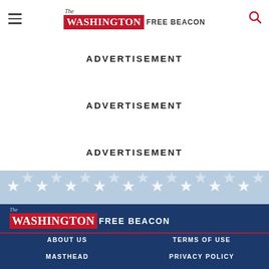The Washington Free Beacon
ADVERTISEMENT
ADVERTISEMENT
ADVERTISEMENT
[Figure (illustration): Patriotic stars banner with light blue background and white star pattern]
The WASHINGTONFREE BEACON
ABOUT US
TERMS OF USE
MASTHEAD
PRIVACY POLICY
TOPICS
PODCAST